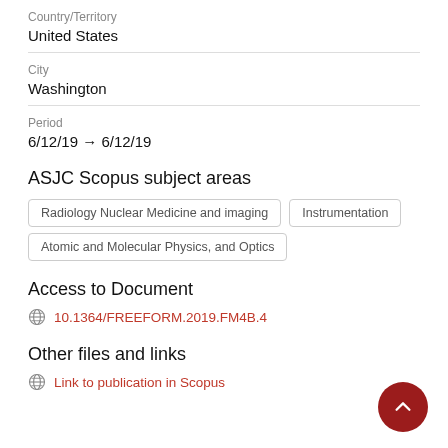Country/Territory
United States
City
Washington
Period
6/12/19 → 6/12/19
ASJC Scopus subject areas
Radiology Nuclear Medicine and imaging
Instrumentation
Atomic and Molecular Physics, and Optics
Access to Document
10.1364/FREEFORM.2019.FM4B.4
Other files and links
Link to publication in Scopus